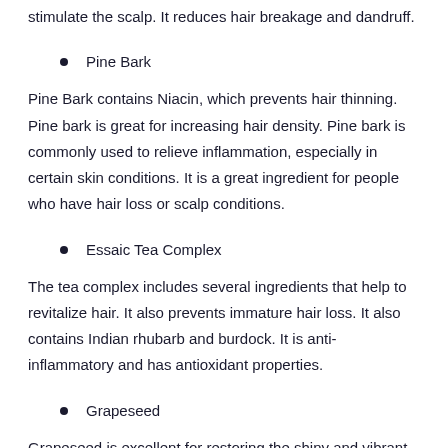stimulate the scalp. It reduces hair breakage and dandruff.
Pine Bark
Pine Bark contains Niacin, which prevents hair thinning. Pine bark is great for increasing hair density. Pine bark is commonly used to relieve inflammation, especially in certain skin conditions. It is a great ingredient for people who have hair loss or scalp conditions.
Essaic Tea Complex
The tea complex includes several ingredients that help to revitalize hair. It also prevents immature hair loss. It also contains Indian rhubarb and burdock. It is anti-inflammatory and has antioxidant properties.
Grapeseed
Grapeseed is excellent for restoring the shiny and vibrant appearance